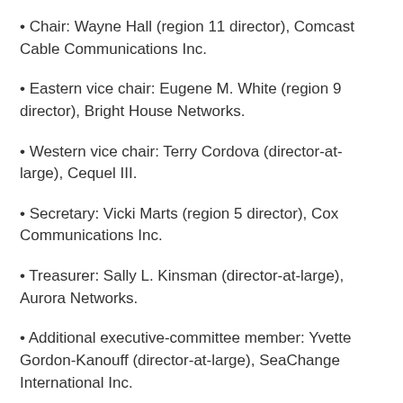Chair: Wayne Hall (region 11 director), Comcast Cable Communications Inc.
Eastern vice chair: Eugene M. White (region 9 director), Bright House Networks.
Western vice chair: Terry Cordova (director-at-large), Cequel III.
Secretary: Vicki Marts (region 5 director), Cox Communications Inc.
Treasurer: Sally L. Kinsman (director-at-large), Aurora Networks.
Additional executive-committee member: Yvette Gordon-Kanouff (director-at-large), SeaChange International Inc.